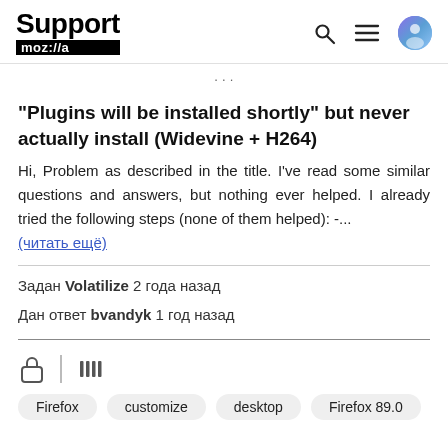Support moz://a
...
"Plugins will be installed shortly" but never actually install (Widevine + H264)
Hi, Problem as described in the title. I've read some similar questions and answers, but nothing ever helped. I already tried the following steps (none of them helped): -... (читать ещё)
Задан Volatilize 2 года назад
Дан ответ bvandyk 1 год назад
[Figure (screenshot): Browser address bar icons: lock icon and library/collection icon]
Firefox
customize
desktop
Firefox 89.0